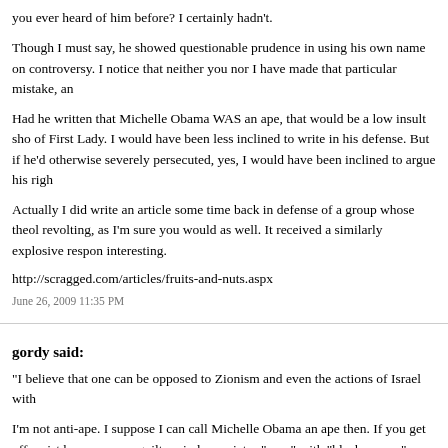you ever heard of him before? I certainly hadn't.
Though I must say, he showed questionable prudence in using his own name on controversy. I notice that neither you nor I have made that particular mistake, an
Had he written that Michelle Obama WAS an ape, that would be a low insult sho of First Lady. I would have been less inclined to write in his defense. But if he'd otherwise severely persecuted, yes, I would have been inclined to argue his righ
Actually I did write an article some time back in defense of a group whose theo revolting, as I'm sure you would as well. It received a similarly explosive respon interesting.
http://scragged.com/articles/fruits-and-nuts.aspx
June 26, 2009 11:35 PM
gordy said:
"I believe that one can be opposed to Zionism and even the actions of Israel with
I'm not anti-ape. I suppose I can call Michelle Obama an ape then. If you get off racist because your guilty mind associates "apes" with "black person" when I me
June 27, 2009 9:03 AM